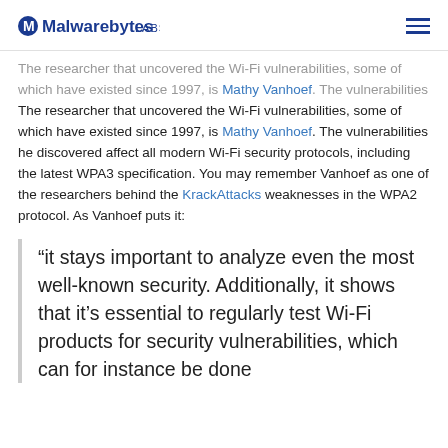Malwarebytes LABS
The researcher that uncovered the Wi-Fi vulnerabilities, some of which have existed since 1997, is Mathy Vanhoef. The vulnerabilities he discovered affect all modern Wi-Fi security protocols, including the latest WPA3 specification. You may remember Vanhoef as one of the researchers behind the KrackAttacks weaknesses in the WPA2 protocol. As Vanhoef puts it:
“it stays important to analyze even the most well-known security. Additionally, it shows that it’s essential to regularly test Wi-Fi products for security vulnerabilities, which can for instance be done